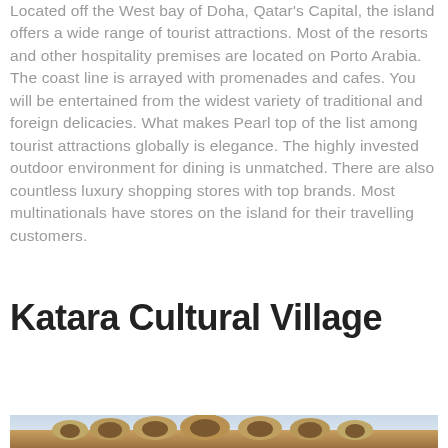Located off the West bay of Doha, Qatar's Capital, the island offers a wide range of tourist attractions. Most of the resorts and other hospitality premises are located on Porto Arabia. The coast line is arrayed with promenades and cafes. You will be entertained from the widest variety of traditional and foreign delicacies. What makes Pearl top of the list among tourist attractions globally is elegance. The highly invested outdoor environment for dining is unmatched. There are also countless luxury shopping stores with top brands. Most multinationals have stores on the island for their travelling customers.
Katara Cultural Village
[Figure (photo): Photo of Katara Cultural Village showing traditional Arabic architecture with arched structures and sandy-colored buildings against a light sky]